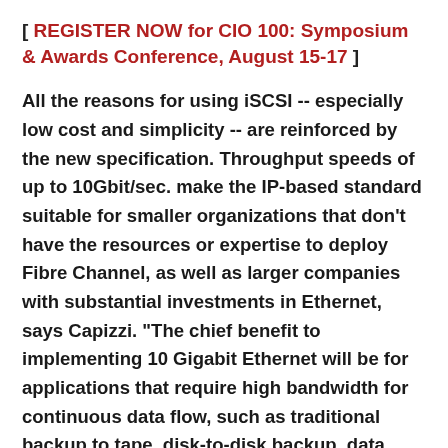[ REGISTER NOW for CIO 100: Symposium & Awards Conference, August 15-17 ]
All the reasons for using iSCSI -- especially low cost and simplicity -- are reinforced by the new specification. Throughput speeds of up to 10Gbit/sec. make the IP-based standard suitable for smaller organizations that don't have the resources or expertise to deploy Fibre Channel, as well as larger companies with substantial investments in Ethernet, says Capizzi. "The chief benefit to implementing 10 Gigabit Ethernet will be for applications that require high bandwidth for continuous data flow, such as traditional backup to tape, disk-to-disk backup, data archiving and data replication for disaster